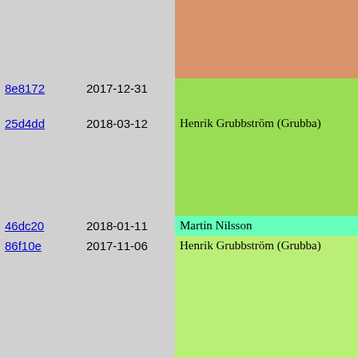| hash | date | author | description |
| --- | --- | --- | --- |
|  |  |  | o mktime/Sys

   Considerab |
| 8e8172 | 2017-12-31 | Henrik Grubbström (Grubba) |  |
| 25d4dd | 2018-03-12 | Henrik Grubbström (Grubba) | o Unicode

   Avoid sca
   as NFC no |
| 46dc20 | 2018-01-11 | Martin Nilsson |  |
| 86f10e | 2017-11-06 | Henrik Grubbström (Grubba) | Building & T
-----------

o Image.SVG

   Fall back
   doesn't e |
| 8e8172 | 2017-12-31 | Henrik Grubbström (Grubba) | o Mysql

   Support Ma |
| 86f10e | 2017-11-06 | Henrik Grubbström (Grubba) | o precompile

   Support p

o smartlink |